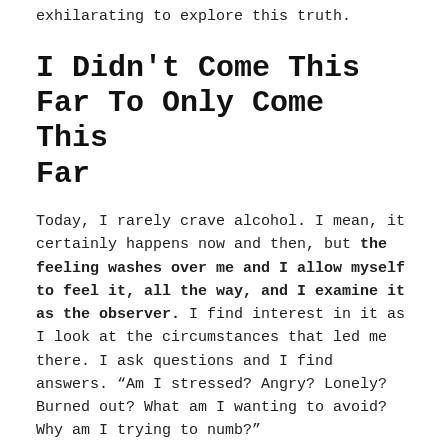exhilarating to explore this truth.
I Didn't Come This Far To Only Come This Far
Today, I rarely crave alcohol. I mean, it certainly happens now and then, but the feeling washes over me and I allow myself to feel it, all the way, and I examine it as the observer. I find interest in it as I look at the circumstances that led me there. I ask questions and I find answers. “Am I stressed? Angry? Lonely? Burned out? What am I wanting to avoid? Why am I trying to numb?”
I go slow, not fast.
And I adjust.